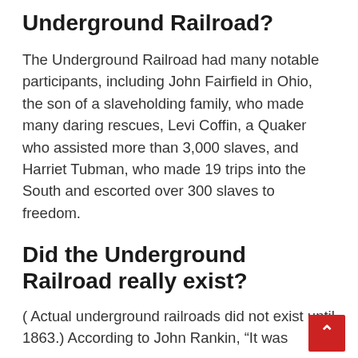Underground Railroad?
The Underground Railroad had many notable participants, including John Fairfield in Ohio, the son of a slaveholding family, who made many daring rescues, Levi Coffin, a Quaker who assisted more than 3,000 slaves, and Harriet Tubman, who made 19 trips into the South and escorted over 300 slaves to freedom.
Did the Underground Railroad really exist?
( Actual underground railroads did not exist until 1863.) According to John Rankin, “It was